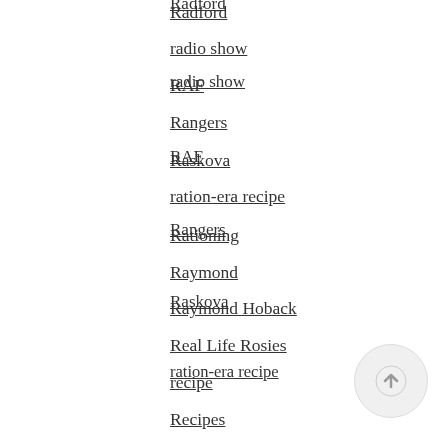Radford
radio show
RAF
Rangers
Raskova
ration-era recipe
Rationing
Raymond
Raymond Hoback
Real Life Rosies
recipe
Recipes